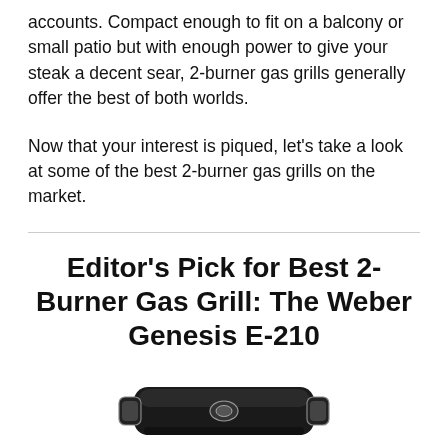accounts. Compact enough to fit on a balcony or small patio but with enough power to give your steak a decent sear, 2-burner gas grills generally offer the best of both worlds.
Now that your interest is piqued, let's take a look at some of the best 2-burner gas grills on the market.
Editor's Pick for Best 2-Burner Gas Grill: The Weber Genesis E-210
[Figure (photo): Partial image of a black gas grill (Weber Genesis E-210) viewed from above/front, showing the grill lid and handles.]